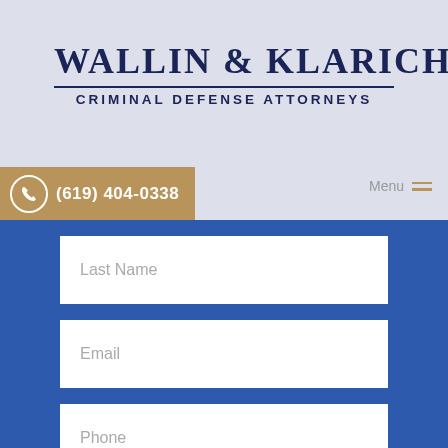Wallin & Klarich
Criminal Defense Attorneys
(619) 404-0338
Menu
Last Name
Email
Phone
City and State of Case